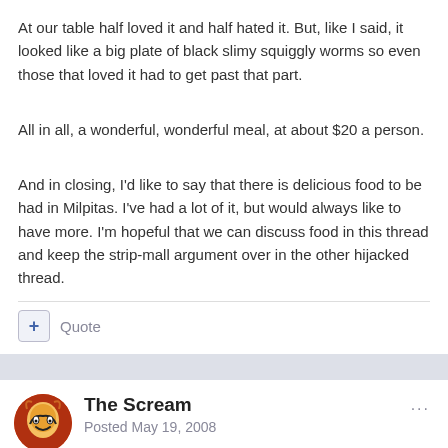At our table half loved it and half hated it. But, like I said, it looked like a big plate of black slimy squiggly worms so even those that loved it had to get past that part.
All in all, a wonderful, wonderful meal, at about $20 a person.
And in closing, I'd like to say that there is delicious food to be had in Milpitas. I've had a lot of it, but would always like to have more. I'm hopeful that we can discuss food in this thread and keep the strip-mall argument over in the other hijacked thread.
+ Quote
The Scream
Posted May 19, 2008
What's non-ethnic food? Serious question. I'm not playing around.